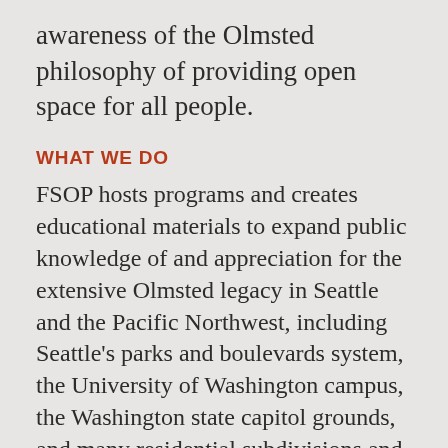awareness of the Olmsted philosophy of providing open space for all people.
WHAT WE DO
FSOP hosts programs and creates educational materials to expand public knowledge of and appreciation for the extensive Olmsted legacy in Seattle and the Pacific Northwest, including Seattle’s parks and boulevards system, the University of Washington campus, the Washington state capitol grounds, and many residential subdivisions and private estates.